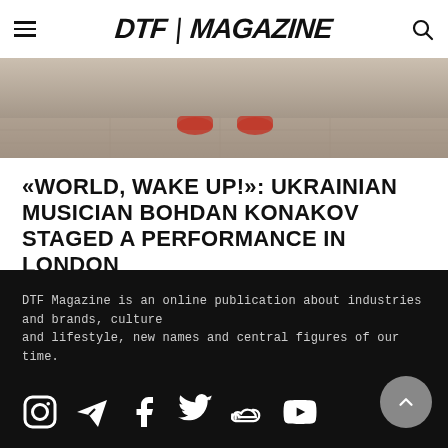DTF | MAGAZINE
[Figure (photo): Cropped photo showing feet/shoes on a floor, seen from above, muted warm tones]
«WORLD, WAKE UP!»: UKRAINIAN MUSICIAN BOHDAN KONAKOV STAGED A PERFORMANCE IN LONDON
DTF Magazine is an online publication about industries and brands, culture and lifestyle, new names and central figures of our time.